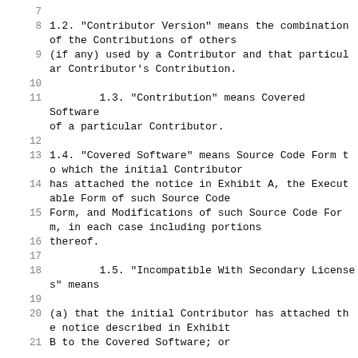7  (empty line)
8  1.2. "Contributor Version" means the combination of the Contributions of others
9  (if any) used by a Contributor and that particular Contributor's Contribution.
10  (empty)
11         1.3. "Contribution" means Covered Software of a particular Contributor.
12  (empty)
13  1.4. "Covered Software" means Source Code Form to which the initial Contributor
14  has attached the notice in Exhibit A, the Executable Form of such Source Code
15  Form, and Modifications of such Source Code Form, in each case including portions
16  thereof.
17  (empty)
18         1.5. "Incompatible With Secondary Licenses" means
19  (empty)
20  (a) that the initial Contributor has attached the notice described in Exhibit
21  B to the Covered Software; or